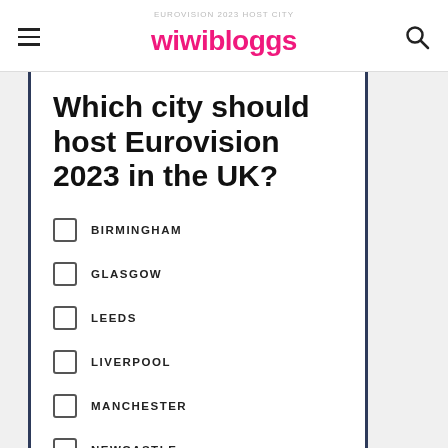EUROVISION 2023 HOST CITY — wiwibloggs
Which city should host Eurovision 2023 in the UK?
BIRMINGHAM
GLASGOW
LEEDS
LIVERPOOL
MANCHESTER
NEWCASTLE